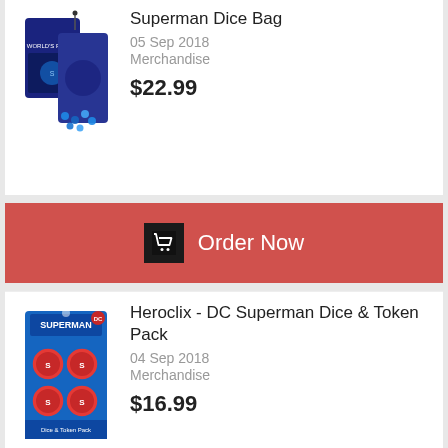[Figure (photo): Superman Dice Bag product image showing a dark dice bag with Superman branding]
Superman Dice Bag
05 Sep 2018
Merchandise
$22.99
Order Now
[Figure (photo): Heroclix DC Superman Dice & Token Pack product image showing blister pack with Superman tokens and dice]
Heroclix - DC Superman Dice & Token Pack
04 Sep 2018
Merchandise
$16.99